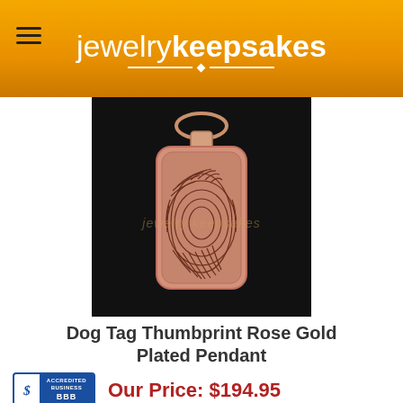jewelrykeepsakes
[Figure (photo): Rose gold plated dog tag pendant with fingerprint engraving on black background, shown on a chain]
Dog Tag Thumbprint Rose Gold Plated Pendant
[Figure (logo): BBB Accredited Business logo]
Our Price: $194.95